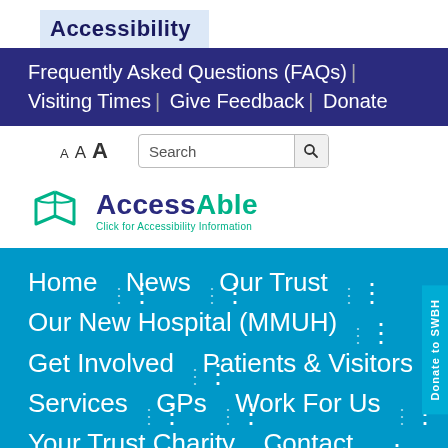Accessibility
Frequently Asked Questions (FAQs) | Visiting Times | Give Feedback | Donate
[Figure (screenshot): Font size selector (A A A) and search box]
[Figure (logo): AccessAble logo with icon and tagline: Click for Accessibility Information]
Home | News | Our Trust | Our New Hospital (MMUH) | Get Involved | Patients & Visitors | Services | GPs | Work For Us | Your Trust Charity | Contact